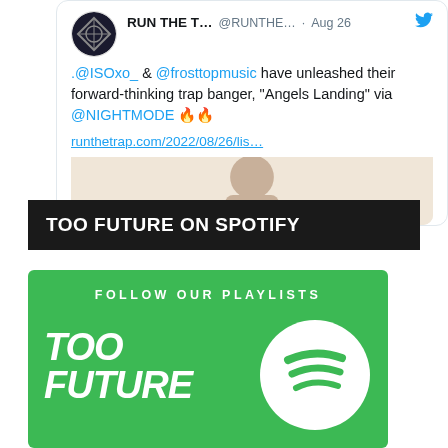[Figure (screenshot): A tweet from RUN THE T... (@RUNTHE...) dated Aug 26, showing text: '.@ISOxo_ & @frosttopmusic have unleashed their forward-thinking trap banger, "Angels Landing" via @NIGHTMODE 🔥🔥' with a link runthetrap.com/2022/08/26/lis... and a partial image of a person]
TOO FUTURE ON SPOTIFY
[Figure (illustration): Green Spotify promotional banner with text 'FOLLOW OUR PLAYLISTS' and 'TOO FUTURE' in white, alongside the Spotify logo (white circle with three curved lines)]